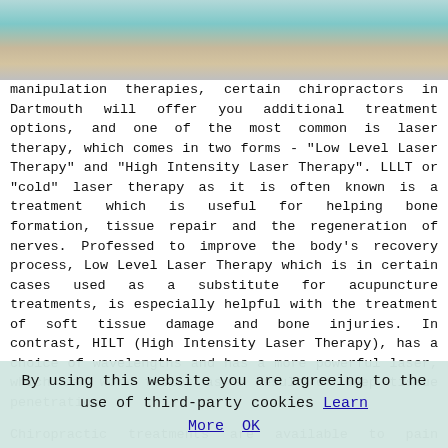[Figure (photo): Partial photo strip at top of page, showing blurred background with teal/wood tones]
manipulation therapies, certain chiropractors in Dartmouth will offer you additional treatment options, and one of the most common is laser therapy, which comes in two forms - "Low Level Laser Therapy" and "High Intensity Laser Therapy". LLLT or "cold" laser therapy as it is often known is a treatment which is useful for helping bone formation, tissue repair and the regeneration of nerves. Professed to improve the body's recovery process, Low Level Laser Therapy which is in certain cases used as a substitute for acupuncture treatments, is especially helpful with the treatment of soft tissue damage and bone injuries. In contrast, HILT (High Intensity Laser Therapy), has a choice of wavelengths and has a more powerful laser, which can work faster as a result of deep tissue penetration.
Chiropractic treatments are available to pain sufferers in Dartmouth and also in: Ash, Norton, Harbertonford, Ashprington, Stoke Fleming, Dittisham, Downton, Stoke Gabriel, Blackpool Sands, Cornworthy, Bowden, Kingswear, Strete, Blackawton, and in these postcodes TQ6 9GL, TQ6 9RG, TQ6 9NH, TQ6 9LQ, TQ6 9LH, TQ6 9QS, TQ6 9RJ, TQ6 9HW
By using this website you are agreeing to the use of third-party cookies Learn More OK